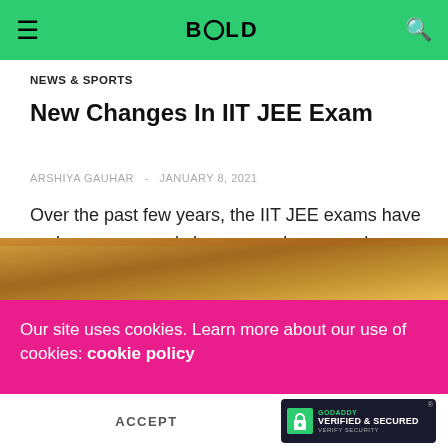BOLD
NEWS & SPORTS
New Changes In IIT JEE Exam
ARSHIYA GAUHAR  -  JANUARY 8, 2021
Over the past few years, the IIT JEE exams have undergone several changes and now much-discussed eligibility criteria has also been waived off for the year 2021. Earlier, the students for writing the JEE exam should have a minimum score…
[Figure (photo): Partial image strip showing warm brown/golden tones, appears to be a photo related to the JEE exam article]
Our site uses cookies. Learn more about our use of cookies: cookie policy
ACCEPT